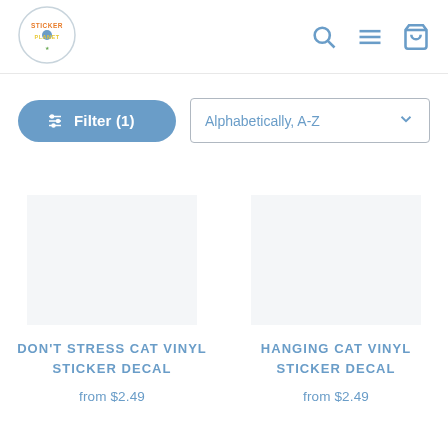[Figure (logo): Sticker Planet logo — circular badge with colorful text]
[Figure (other): Navigation icons: search (magnifying glass), hamburger menu, shopping cart]
Filter (1)
Alphabetically, A-Z
DON'T STRESS CAT VINYL STICKER DECAL
from $2.49
HANGING CAT VINYL STICKER DECAL
from $2.49